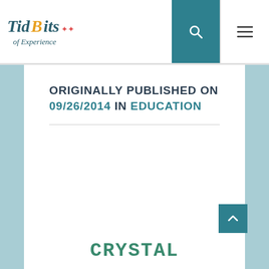TidBits of Experience — navigation header with logo, search, and menu
ORIGINALLY PUBLISHED ON 09/26/2014 IN EDUCATION
CRYSTAL